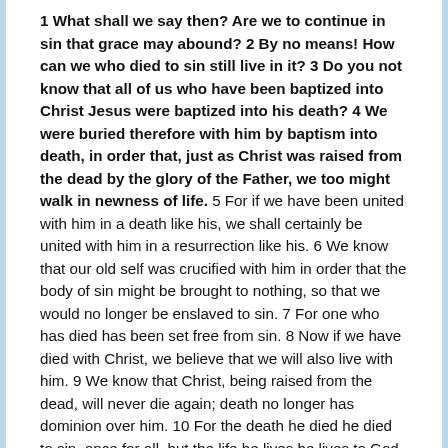1 What shall we say then? Are we to continue in sin that grace may abound? 2 By no means! How can we who died to sin still live in it? 3 Do you not know that all of us who have been baptized into Christ Jesus were baptized into his death? 4 We were buried therefore with him by baptism into death, in order that, just as Christ was raised from the dead by the glory of the Father, we too might walk in newness of life. 5 For if we have been united with him in a death like his, we shall certainly be united with him in a resurrection like his. 6 We know that our old self was crucified with him in order that the body of sin might be brought to nothing, so that we would no longer be enslaved to sin. 7 For one who has died has been set free from sin. 8 Now if we have died with Christ, we believe that we will also live with him. 9 We know that Christ, being raised from the dead, will never die again; death no longer has dominion over him. 10 For the death he died he died to sin, once for all, but the life he lives he lives to God. 11 So you also must consider